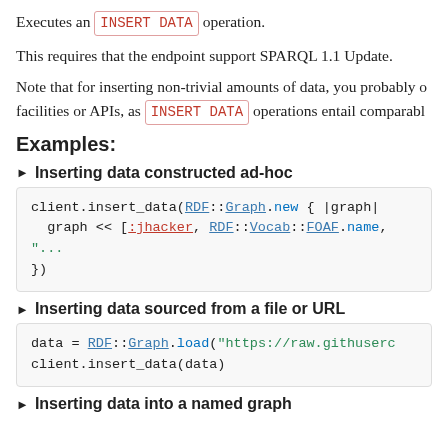Executes an INSERT DATA operation.
This requires that the endpoint support SPARQL 1.1 Update.
Note that for inserting non-trivial amounts of data, you probably o... facilities or APIs, as INSERT DATA operations entail comparabl...
Examples:
► Inserting data constructed ad-hoc
client.insert_data(RDF::Graph.new { |graph|
  graph << [:jhacker, RDF::Vocab::FOAF.name, "..."
})
► Inserting data sourced from a file or URL
data = RDF::Graph.load("https://raw.githuserc..."
client.insert_data(data)
► Inserting data into a named graph